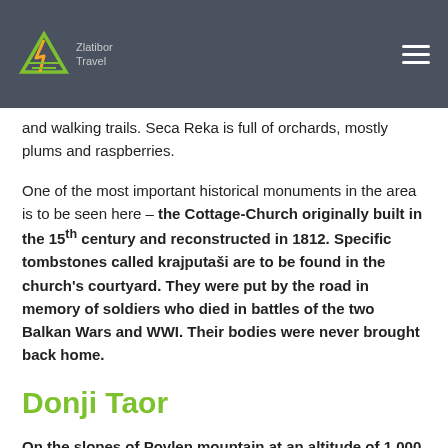Zlatibor Travel [logo] | navigation menu
and walking trails. Seca Reka is full of orchards, mostly plums and raspberries.
One of the most important historical monuments in the area is to be seen here – the Cottage-Church originally built in the 15th century and reconstructed in 1812. Specific tombstones called krajputaši are to be found in the church's courtyard. They were put by the road in memory of soldiers who died in battles of the two Balkan Wars and WWI. Their bodies were never brought back home.
Donji Taor
On the slopes of Povlen mountain at an altitude of 1,000 meters, and 20 km away from Kosjerić, lies the village of Donji Taor. This is the typical rural settlement, ideal for those